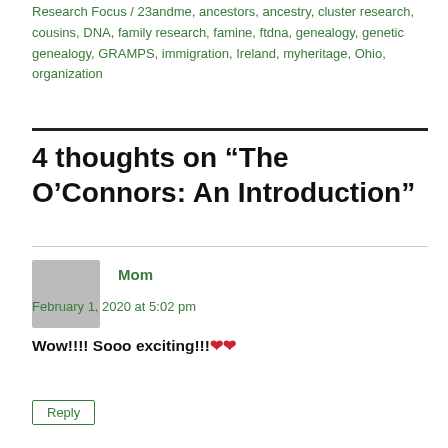Research Focus / 23andme, ancestors, ancestry, cluster research, cousins, DNA, family research, famine, ftdna, genealogy, genetic genealogy, GRAMPS, immigration, Ireland, myheritage, Ohio, organization
4 thoughts on “The O’Connors: An Introduction”
Mom
February 1, 2020 at 5:02 pm
Wow!!!! Sooo exciting!!! ❤️❤️
Reply